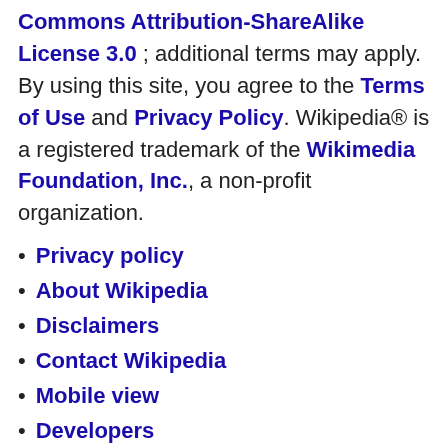Text is available under the Creative Commons Attribution-ShareAlike License 3.0; additional terms may apply. By using this site, you agree to the Terms of Use and Privacy Policy. Wikipedia® is a registered trademark of the Wikimedia Foundation, Inc., a non-profit organization.
Privacy policy
About Wikipedia
Disclaimers
Contact Wikipedia
Mobile view
Developers
Statistics
Cookie statement
[Figure (logo): Wikimedia project logo badge]
[Figure (logo): Powered by MediaWiki badge]
References